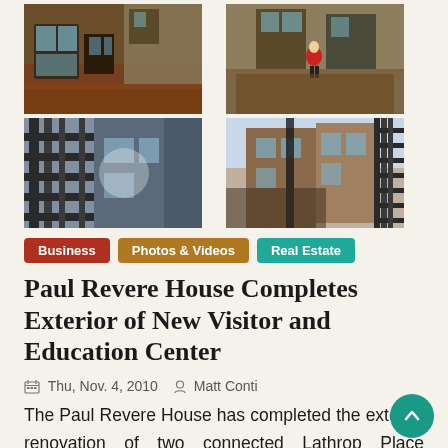[Figure (photo): Four photos of Paul Revere House exterior renovation: courtyard views and fire escape/building exterior views]
Business
Photos & Videos
Real Estate
Paul Revere House Completes Exterior of New Visitor and Education Center
Thu, Nov. 4, 2010   Matt Conti
The Paul Revere House has completed the exterior renovation of two connected Lathrop Place properties abutting its courtyard area. The association is still working on the interior and continues its fund raising effort toward